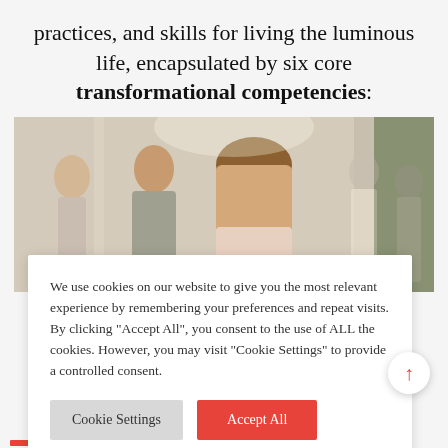practices, and skills for living the luminous life, encapsulated by six core transformational competencies:
[Figure (photo): Group of people in a bright indoor setting, a smiling woman in focus in the center, others blurred in background]
We use cookies on our website to give you the most relevant experience by remembering your preferences and repeat visits. By clicking "Accept All", you consent to the use of ALL the cookies. However, you may visit "Cookie Settings" to provide a controlled consent.